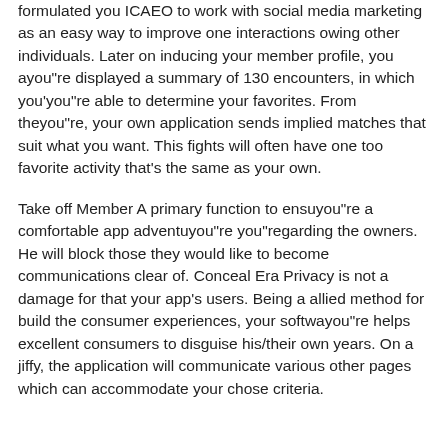formulated you ICAEO to work with social media marketing as an easy way to improve one interactions owing other individuals. Later on inducing your member profile, you ayou"re displayed a summary of 130 encounters, in which you'you"re able to determine your favorites. From theyou"re, your own application sends implied matches that suit what you want. This fights will often have one too favorite activity that's the same as your own.
Take off Member A primary function to ensuyou"re a comfortable app adventuyou"re you"regarding the owners. He will block those they would like to become communications clear of. Conceal Era Privacy is not a damage for that your app's users. Being a allied method for build the consumer experiences, your softwayou"re helps excellent consumers to disguise his/their own years. On a jiffy, the application will communicate various other pages which can accommodate your chose criteria.